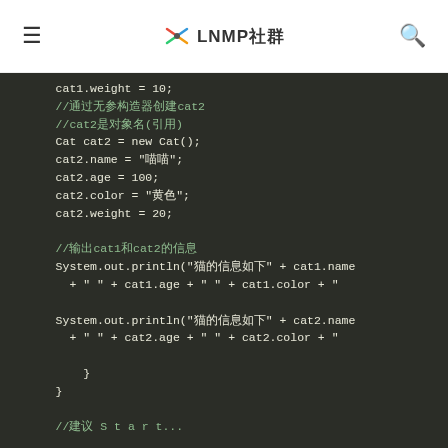≡  ✳ LNMP社群  🔍
[Figure (screenshot): Java code snippet showing Cat object creation and System.out.println calls in a dark-themed code editor]